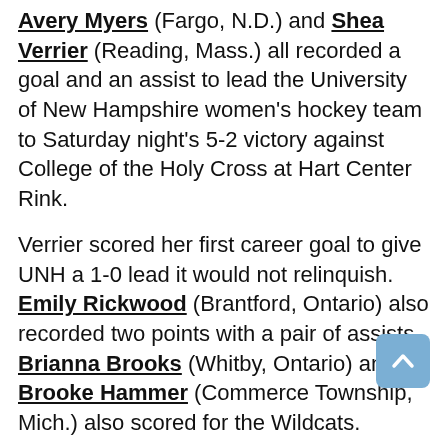Avery Myers (Fargo, N.D.) and Shea Verrier (Reading, Mass.) all recorded a goal and an assist to lead the University of New Hampshire women's hockey team to Saturday night's 5-2 victory against College of the Holy Cross at Hart Center Rink.
Verrier scored her first career goal to give UNH a 1-0 lead it would not relinquish. Emily Rickwood (Brantford, Ontario) also recorded two points with a pair of assists. Brianna Brooks (Whitby, Ontario) and Brooke Hammer (Commerce Township, Mich.) also scored for the Wildcats.
UNH goaltender Nicky Harnett (Plymouth, Minn.) was credited with 23 saves. HC counterpart Jada Brenon stopped 19 shots.
UNH, which held three two-goal leads, completed